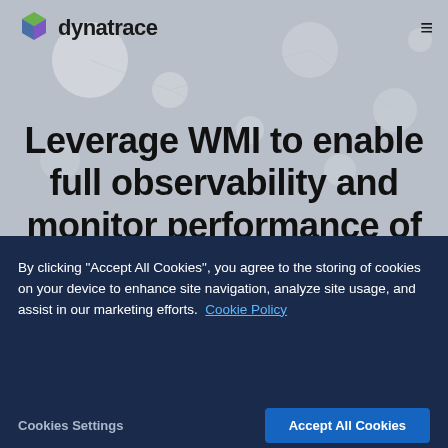[Figure (logo): Dynatrace logo with colorful cube icon and wordmark 'dynatrace' in dark text]
Leverage WMI to enable full observability and monitor performance of Windows hosts and
By clicking "Accept All Cookies", you agree to the storing of cookies on your device to enhance site navigation, analyze site usage, and assist in our marketing efforts. Cookie Policy